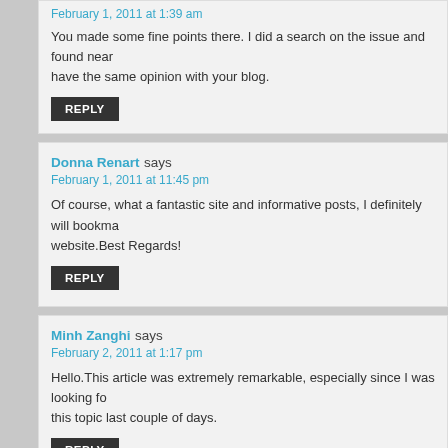February 1, 2011 at 1:39 am
You made some fine points there. I did a search on the issue and found near... have the same opinion with your blog.
REPLY
Donna Renart says
February 1, 2011 at 11:45 pm
Of course, what a fantastic site and informative posts, I definitely will bookma... website.Best Regards!
REPLY
Minh Zanghi says
February 2, 2011 at 1:17 pm
Hello.This article was extremely remarkable, especially since I was looking fo... this topic last couple of days.
REPLY
Sharell Chaw says